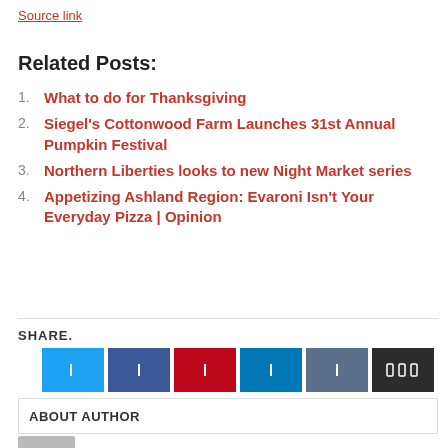Source link
Related Posts:
What to do for Thanksgiving
Siegel’s Cottonwood Farm Launches 31st Annual Pumpkin Festival
Northern Liberties looks to new Night Market series
Appetizing Ashland Region: Evaroni Isn’t Your Everyday Pizza | Opinion
SHARE.
[Figure (infographic): Six social media share icon buttons: Twitter (blue), Facebook (dark blue), Pinterest (red), LinkedIn (blue), Email (grey-blue), More (dark/black)]
ABOUT AUTHOR
HAYWOOD M. SLAUGHTER